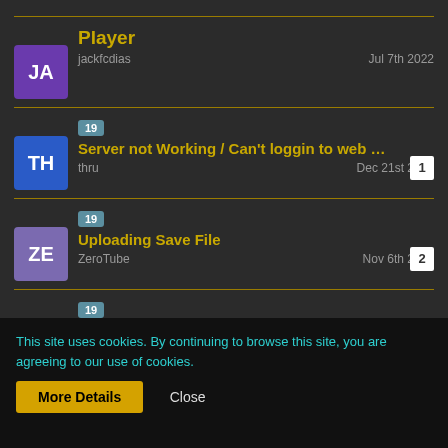Player | jackfcdias | Jul 7th 2022
19 | Server not Working / Can't loggin to web interface. | thru | Dec 21st 2021 | replies: 1
19 | Uploading Save File | ZeroTube | Nov 6th 2021 | replies: 2
19 | I cannot find my server in game | D1rtSlinger | Oct 26th 2021 | replies: 1
This site uses cookies. By continuing to browse this site, you are agreeing to our use of cookies.
More Details   Close